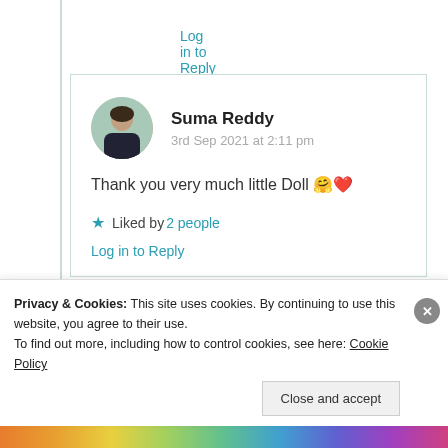Log in to Reply
Suma Reddy
3rd Sep 2021 at 2:11 pm
Thank you very much little Doll 🤔❤
★ Liked by 2 people
Log in to Reply
Privacy & Cookies: This site uses cookies. By continuing to use this website, you agree to their use.
To find out more, including how to control cookies, see here: Cookie Policy
Close and accept